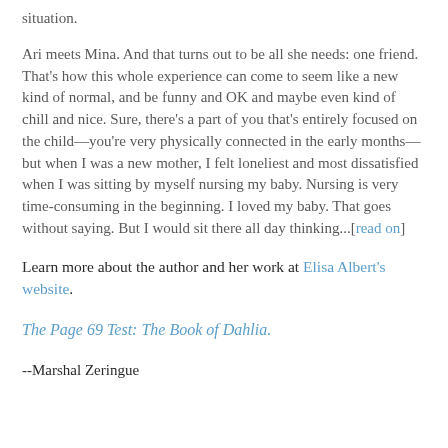situation.
Ari meets Mina. And that turns out to be all she needs: one friend. That’s how this whole experience can come to seem like a new kind of normal, and be funny and OK and maybe even kind of chill and nice. Sure, there’s a part of you that’s entirely focused on the child—you’re very physically connected in the early months—but when I was a new mother, I felt loneliest and most dissatisfied when I was sitting by myself nursing my baby. Nursing is very time-consuming in the beginning. I loved my baby. That goes without saying. But I would sit there all day thinking...[read on]
Learn more about the author and her work at Elisa Albert’s website.
The Page 69 Test: The Book of Dahlia.
--Marshal Zeringue